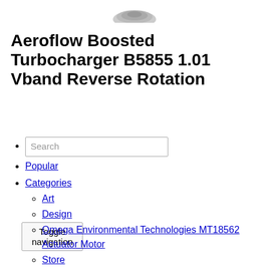[Figure (photo): Partial product image of a turbocharger at top of page]
Aeroflow Boosted Turbocharger B5855 1.01 Vband Reverse Rotation
Toggle navigation (button)
Search (input field)
Popular
Categories
Art
Design
Omega Environmental Technologies MT18562 Actuator Motor
Store
Architecture
Science
Sundown Kids Marvel Avengers Complete Multivitamin Gummies 60 ea
History